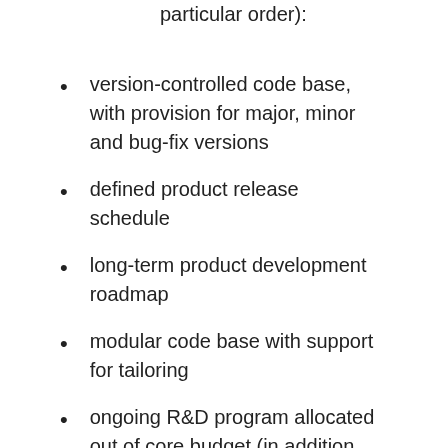particular order):
version-controlled code base, with provision for major, minor and bug-fix versions
defined product release schedule
long-term product development roadmap
modular code base with support for tailoring
ongoing R&D program allocated out of core budget (in addition to client-directed work)